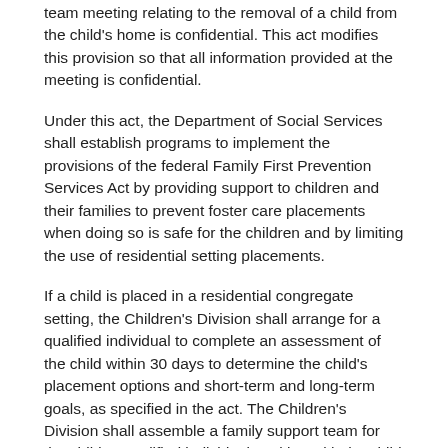team meeting relating to the removal of a child from the child's home is confidential. This act modifies this provision so that all information provided at the meeting is confidential.
Under this act, the Department of Social Services shall establish programs to implement the provisions of the federal Family First Prevention Services Act by providing support to children and their families to prevent foster care placements when doing so is safe for the children and by limiting the use of residential setting placements.
If a child is placed in a residential congregate setting, the Children's Division shall arrange for a qualified individual to complete an assessment of the child within 30 days to determine the child's placement options and short-term and long-term goals, as specified in the act. The Children's Division shall assemble a family support team for the child. A qualified individual working with the child to develop the child's assessment shall have unlimited access to the child's records, including medical, educational, mental health, and placement records. The assessment shall be provided to all parties in a juvenile proceeding and admitted into evidence, with redactions as needed.